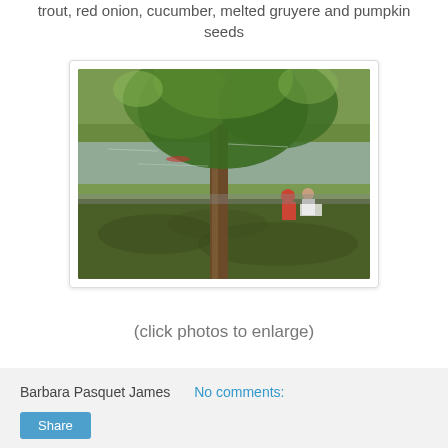trout, red onion, cucumber, melted gruyere and pumpkin seeds
[Figure (photo): Outdoor riverside scene with a large tree in foreground, green grass, and two people sitting near a body of water in the background. Dappled sunlight through leaves.]
(click photos to enlarge)
Barbara Pasquet James
No comments:
Share